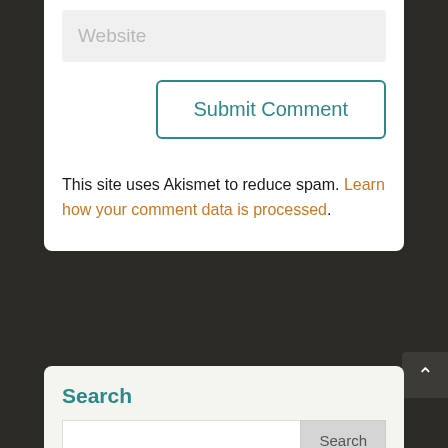[Figure (screenshot): Website input field with placeholder text 'Website' on a light grey background]
[Figure (screenshot): Submit Comment button with teal border and teal text on white background]
This site uses Akismet to reduce spam. Learn how your comment data is processed.
[Figure (screenshot): Back to top arrow button on dark background]
Search
[Figure (screenshot): Search input field with Search button]
Recent Posts